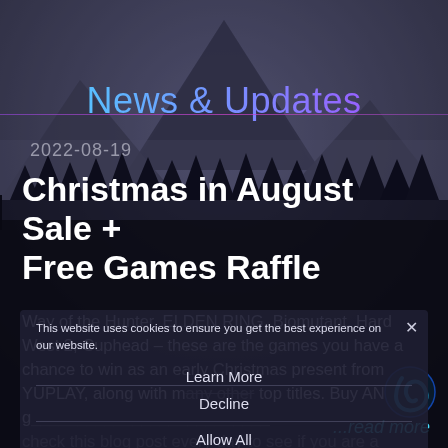[Figure (illustration): Dark atmospheric mountain landscape background with misty peaks and forest silhouettes in dark blue-grey tones]
News & Updates
2022-08-19
Christmas in August Sale + Free Games Raffle
Way of the Hunter, ELDEN RING, Biomutant, Hard West 2, Cuphead – these are the games you have a chance to win as an early Christmas present from YUPLAY, along with many other top titles. Buy ANY game from the store and you are in with a shot. Just check this blog post every day to see if you are a th
This website uses cookies to ensure you get the best experience on our website.
Learn More
Decline
Allow All
...read more